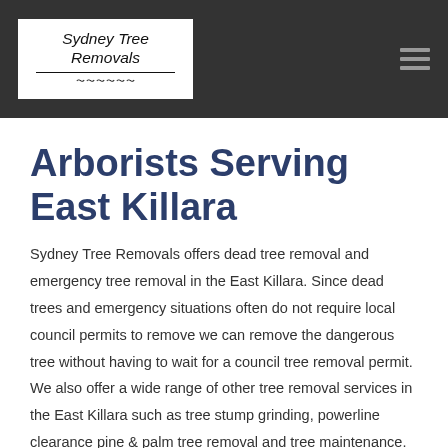Sydney Tree Removals
Arborists Serving East Killara
Sydney Tree Removals offers dead tree removal and emergency tree removal in the East Killara. Since dead trees and emergency situations often do not require local council permits to remove we can remove the dangerous tree without having to wait for a council tree removal permit. We also offer a wide range of other tree removal services in the East Killara such as tree stump grinding, powerline clearance pine & palm tree removal and tree maintenance. Our East Killara tree removal costs are competitive.